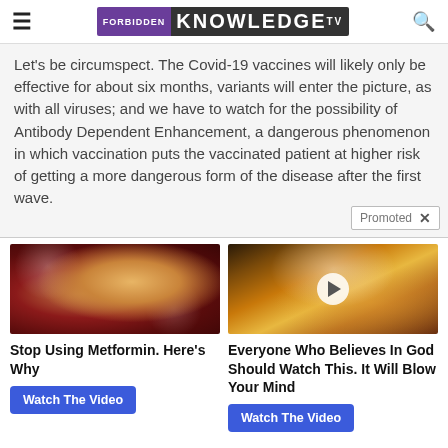FORBIDDEN KNOWLEDGE TV
Let's be circumspect. The Covid-19 vaccines will likely only be effective for about six months, variants will enter the picture, as with all viruses; and we have to watch for the possibility of Antibody Dependent Enhancement, a dangerous phenomenon in which vaccination puts the vaccinated patient at higher risk of getting a more dangerous form of the disease after the first wave.
[Figure (photo): Medical/anatomical illustration showing internal organs in reddish tones, used as thumbnail for 'Stop Using Metformin' ad]
Stop Using Metformin. Here's Why
Watch The Video
[Figure (photo): Sky with golden/orange clouds and a play button overlay, used as thumbnail for 'Everyone Who Believes In God' video ad]
Everyone Who Believes In God Should Watch This. It Will Blow Your Mind
Watch The Video